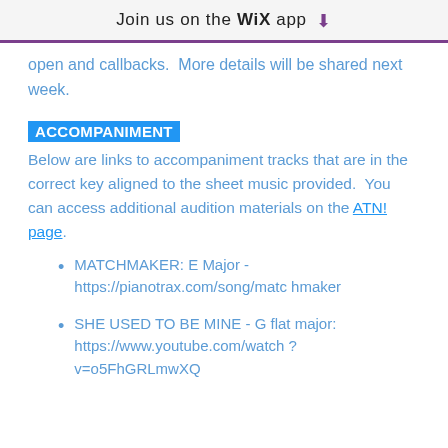Join us on the WiX app ⬇
open and callbacks.  More details will be shared next week.
ACCOMPANIMENT
Below are links to accompaniment tracks that are in the correct key aligned to the sheet music provided.  You can access additional audition materials on the ATN! page.
MATCHMAKER: E Major - https://pianotrax.com/song/matchmaker
SHE USED TO BE MINE - G flat major: https://www.youtube.com/watch?v=o5FhGRLmwXQ